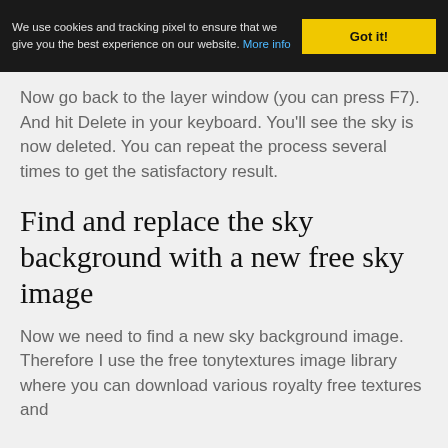We use cookies and tracking pixel to ensure that we give you the best experience on our website. More info
Got it!
Now go back to the layer window (you can press F7). And hit Delete in your keyboard. You’ll see the sky is now deleted. You can repeat the process several times to get the satisfactory result.
Find and replace the sky background with a new free sky image
Now we need to find a new sky background image. Therefore I use the free tonytextures image library where you can download various royalty free textures and backgrounds free of charge.